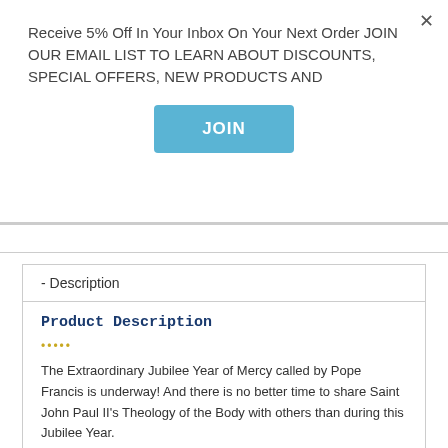Receive 5% Off In Your Inbox On Your Next Order JOIN OUR EMAIL LIST TO LEARN ABOUT DISCOUNTS, SPECIAL OFFERS, NEW PRODUCTS AND
JOIN
- Description
Product Description
•••••
The Extraordinary Jubilee Year of Mercy called by Pope Francis is underway! And there is no better time to share Saint John Paul II's Theology of the Body with others than during this Jubilee Year.
The Latin word for mercy, misericordia, means "a heart which gives itself to those in misery." That's how